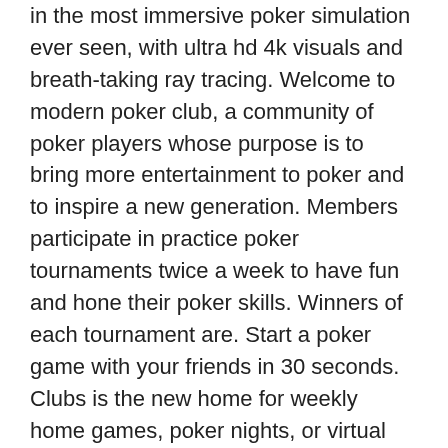in the most immersive poker simulation ever seen, with ultra hd 4k visuals and breath-taking ray tracing. Welcome to modern poker club, a community of poker players whose purpose is to bring more entertainment to poker and to inspire a new generation. Members participate in practice poker tournaments twice a week to have fun and hone their poker skills. Winners of each tournament are. Start a poker game with your friends in 30 seconds. Clubs is the new home for weekly home games, poker nights, or virtual company outings
Ein weiteres Beispiel: Wahrend nach dem 8. Verlust nach Fibonacci 34 Euro die nachste Einsatzhohe bestimmen, muss der Martingale-Spieler bereits eine Summe von 256 Euro auf den Tisch legen, um den Verlust mit nur einem einzigen Gewinncoup wieder ausgleichen zu konnen, und die Rechnung zeigt: